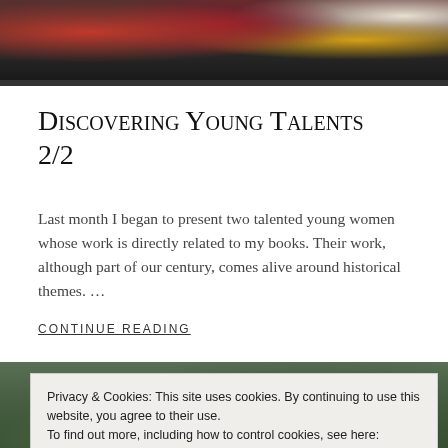[Figure (photo): Top banner photo showing flowers — red roses, pink flowers, and golden/yellow flower with a white fabric, dark background.]
Discovering Young Talents 2/2
Last month I began to present two talented young women whose work is directly related to my books. Their work, although part of our century, comes alive around historical themes. …
CONTINUE READING
[Figure (photo): Bottom section showing a dark green forest or garden scene with trees and foliage.]
Privacy & Cookies: This site uses cookies. By continuing to use this website, you agree to their use.
To find out more, including how to control cookies, see here: Cookie Policy
Close and accept